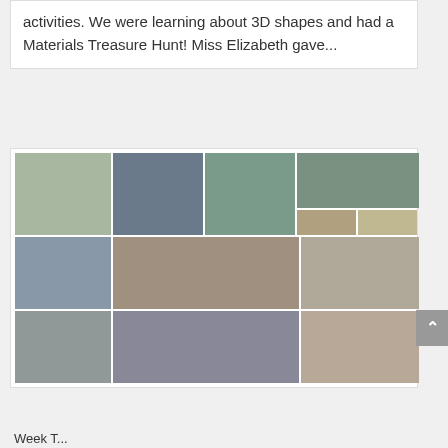activities. We were learning about 3D shapes and had a Materials Treasure Hunt! Miss Elizabeth gave...
[Figure (photo): A collage of multiple photos showing children engaged in hands-on learning activities at home including 3D shapes and materials treasure hunt activities.]
Week T...